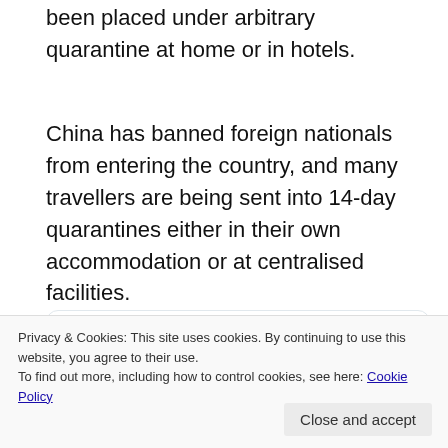been placed under arbitrary quarantine at home or in hotels.
China has banned foreign nationals from entering the country, and many travellers are being sent into 14-day quarantines either in their own accommodation or at centralised facilities.
[Figure (screenshot): Embedded tweet from @badiucao (Badiucao, verified) with Twitter logo, avatar, and partial tweet text: 'Black people are discriminated in China...' and bottom text 'other African recently.']
Privacy & Cookies: This site uses cookies. By continuing to use this website, you agree to their use.
To find out more, including how to control cookies, see here: Cookie Policy
Close and accept